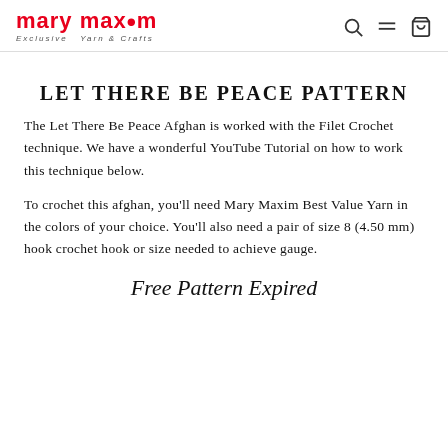mary maxim — Exclusive Yarn & Crafts
LET THERE BE PEACE PATTERN
The Let There Be Peace Afghan is worked with the Filet Crochet technique. We have a wonderful YouTube Tutorial on how to work this technique below.
To crochet this afghan, you'll need Mary Maxim Best Value Yarn in the colors of your choice. You'll also need a pair of size 8 (4.50 mm) hook crochet hook or size needed to achieve gauge.
Free Pattern Expired